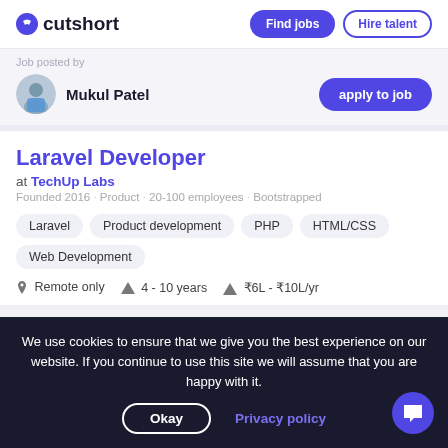cutshort | Find jobs | Hire talent
Job posted by
Mukul Patel
Laravel Developer
at TechUp Labs
Founded 2016 · Product · 20-100 employees · Bootstrapped
Laravel
Product development
PHP
HTML/CSS
Web Development
Remote only  4 - 10 years  ₹6L - ₹10L/yr
We use cookies to ensure that we give you the best experience on our website. If you continue to use this site we will assume that you are happy with it.